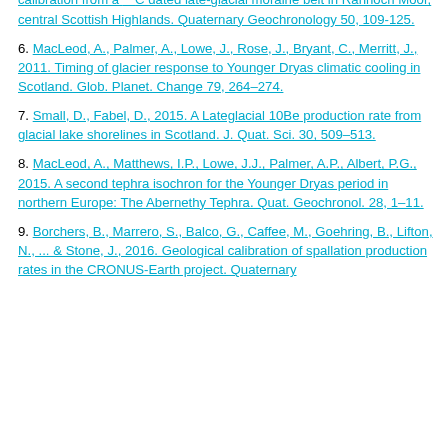calibration from a 14C dated late-glacial moraine belt in Rannoch Moor, central Scottish Highlands. Quaternary Geochronology 50, 109-125.
6. MacLeod, A., Palmer, A., Lowe, J., Rose, J., Bryant, C., Merritt, J., 2011. Timing of glacier response to Younger Dryas climatic cooling in Scotland. Glob. Planet. Change 79, 264–274.
7. Small, D., Fabel, D., 2015. A Lateglacial 10Be production rate from glacial lake shorelines in Scotland. J. Quat. Sci. 30, 509–513.
8. MacLeod, A., Matthews, I.P., Lowe, J.J., Palmer, A.P., Albert, P.G., 2015. A second tephra isochron for the Younger Dryas period in northern Europe: The Abernethy Tephra. Quat. Geochronol. 28, 1–11.
9. Borchers, B., Marrero, S., Balco, G., Caffee, M., Goehring, B., Lifton, N., ... & Stone, J., 2016. Geological calibration of spallation production rates in the CRONUS-Earth project. Quaternary...